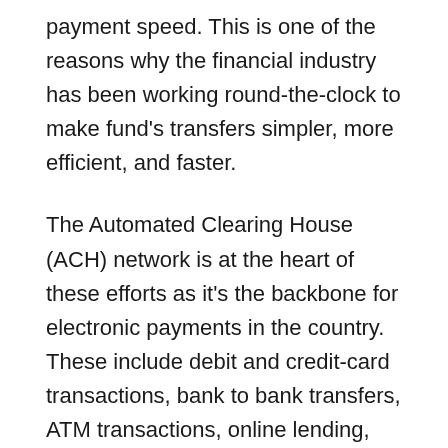payment speed. This is one of the reasons why the financial industry has been working round-the-clock to make fund's transfers simpler, more efficient, and faster.
The Automated Clearing House (ACH) network is at the heart of these efforts as it's the backbone for electronic payments in the country. These include debit and credit-card transactions, bank to bank transfers, ATM transactions, online lending, etc. By speeding up ACH transactions the needs of the financial industry will be met better.
That's where money-transfer applications like Zelle come in. Wondering what these applications are? By the time you're done reading this piece, you'll have